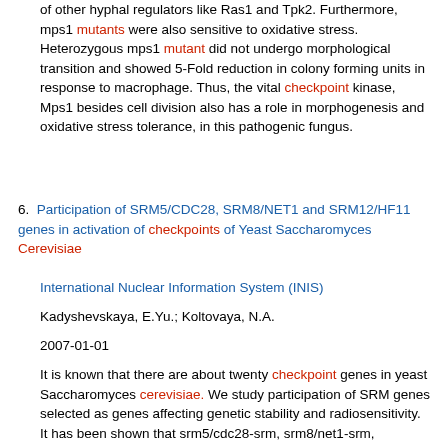of other hyphal regulators like Ras1 and Tpk2. Furthermore, mps1 mutants were also sensitive to oxidative stress. Heterozygous mps1 mutant did not undergo morphological transition and showed 5-Fold reduction in colony forming units in response to macrophage. Thus, the vital checkpoint kinase, Mps1 besides cell division also has a role in morphogenesis and oxidative stress tolerance, in this pathogenic fungus.
6. Participation of SRM5/CDC28, SRM8/NET1 and SRM12/HF11 genes in activation of checkpoints of Yeast Saccharomyces Cerevisiae
International Nuclear Information System (INIS)
Kadyshevskaya, E.Yu.; Koltovaya, N.A.
2007-01-01
It is known that there are about twenty checkpoint genes in yeast Saccharomyces cerevisiae. We study participation of SRM genes selected as genes affecting genetic stability and radiosensitivity. It has been shown that srm5/cdc28-srm, srm8/net1-srm, srm12/hfil-srm mutations prevent checkpoint activation by DNA damage, particularly G0/S-checkpoint (srm5,